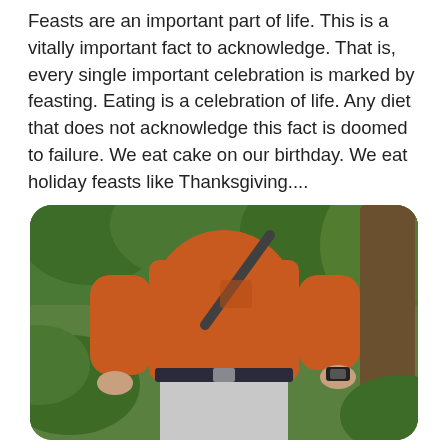Feasts are an important part of life. This is a vitally important fact to acknowledge. That is, every single important celebration is marked by feasting. Eating is a celebration of life. Any diet that does not acknowledge this fact is doomed to failure. We eat cake on our birthday. We eat holiday feasts like Thanksgiving....
[Figure (photo): A heavyset man wearing an orange short-sleeve shirt and light grey pants with a dark belt and a watch on his right wrist, standing on a nature trail surrounded by green foliage and trees.]